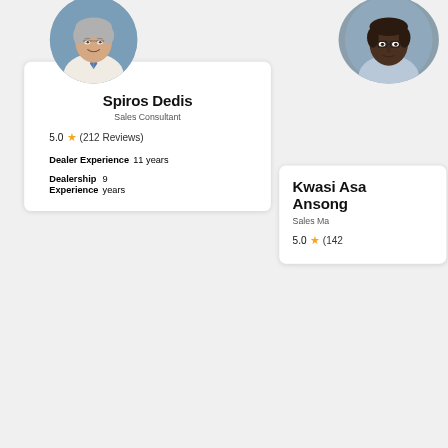[Figure (photo): Circular portrait photo of Spiros Dedis, a middle-aged man with gray hair wearing a white shirt and blue striped tie, smiling, against a blue background]
Spiros Dedis
Sales Consultant
5.0 ★ (212 Reviews)
Dealer Experience 11 years
Dealership Experience 9 years
[Figure (photo): Circular portrait photo of Kwasi Asa Ansong, a man wearing glasses and a light blue shirt, against a gray background — partially cropped on right edge]
Kwasi Asa Ansong
Sales Ma...
5.0 ★ (142...